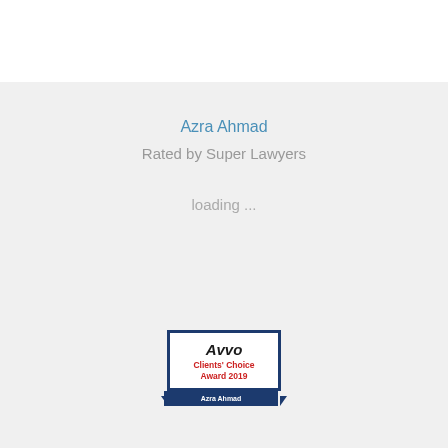Azra Ahmad
Rated by Super Lawyers
loading ...
[Figure (logo): Avvo Clients' Choice Award 2019 badge for Azra Ahmad. A square badge with a dark navy border featuring the Avvo logo in italic bold text, 'Clients' Choice Award 2019' in red text, and a dark navy ribbon banner at the bottom reading 'Azra Ahmad'.]